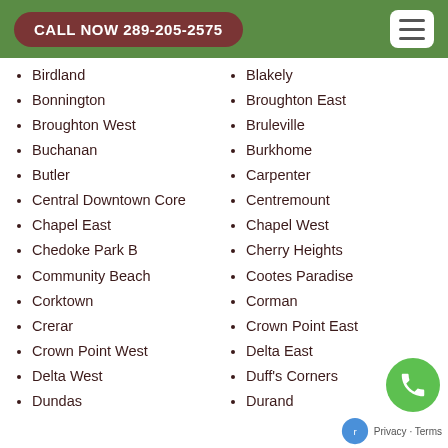CALL NOW 289-205-2575
Birdland
Blakely
Bonnington
Broughton East
Broughton West
Bruleville
Buchanan
Burkhome
Butler
Carpenter
Central Downtown Core
Centremount
Chapel East
Chapel West
Chedoke Park B
Cherry Heights
Community Beach
Cootes Paradise
Corktown
Corman
Crerar
Crown Point East
Crown Point West
Delta East
Delta West
Duff's Corners
Dundas
Durand